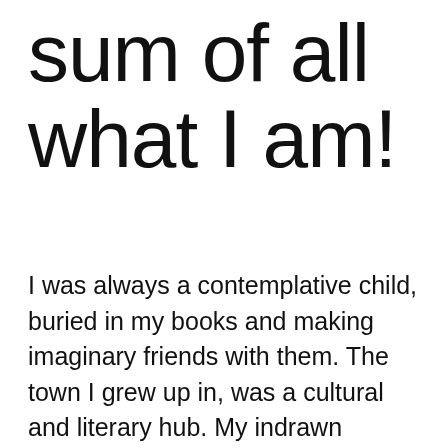sum of all what I am!
I was always a contemplative child, buried in my books and making imaginary friends with them. The town I grew up in, was a cultural and literary hub. My indrawn introspection led to my strong belief in a purpose of life, causes bigger than myself, and unrest against social disorders.